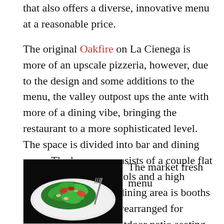that also offers a diverse, innovative menu at a reasonable price.
The original Oakfire on La Cienega is more of an upscale pizzeria, however, due to the design and some additions to the menu, the valley outpost ups the ante with more of a dining vibe, bringing the restaurant to a more sophisticated level. The space is divided into bar and dining areas. The bar area consists of a couple flat screens, leather bar stools and a high communal table. The dining area is booths and tables that can be rearranged for various party sizes. Outdoor patio seating is also available.
[Figure (photo): A plate of fresh green salad with colorful toppings on a dark background]
The market fresh menu